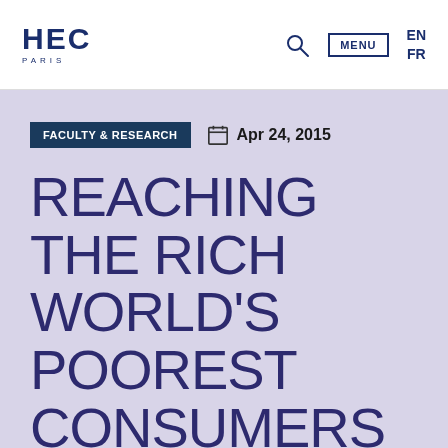HEC PARIS | MENU | EN FR
FACULTY & RESEARCH   Apr 24, 2015
REACHING THE RICH WORLD'S POOREST CONSUMERS – HBR ARTICLE BY